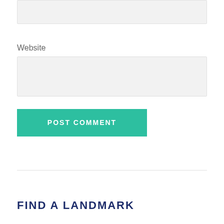[Figure (screenshot): Top gray input text box (partially visible at top of page)]
Website
[Figure (screenshot): Website input text box (empty, light gray background)]
POST COMMENT
FIND A LANDMARK